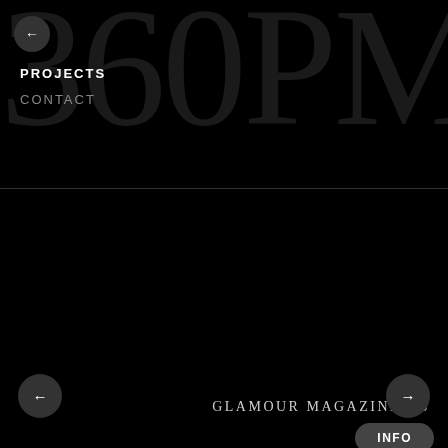360PM
PROJECTS
CONTACT
GLAMOUR MAGAZINE US
INFO